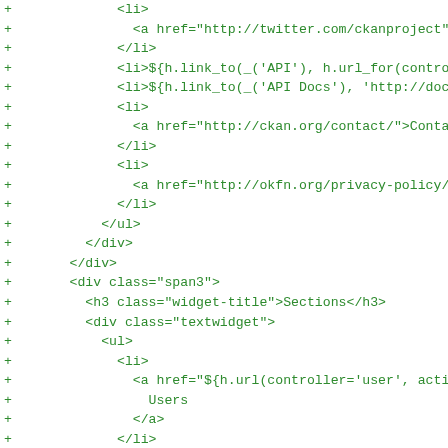diff/code view showing HTML template additions with + markers, displaying list items and div elements with links and template syntax